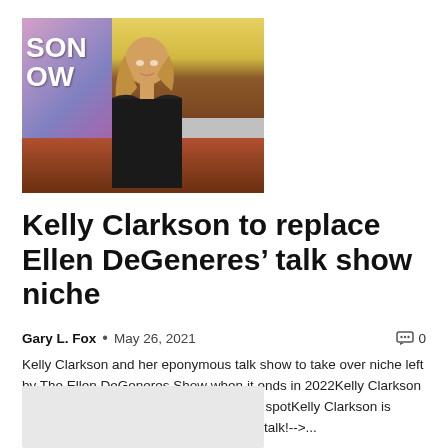[Figure (photo): Kelly Clarkson on the set of her talk show, wearing a black sweater, with the show logo partially visible on the left and a floral background on the right]
Kelly Clarkson to replace Ellen DeGeneres’ talk show niche
Gary L. Fox • May 26, 2021 ⎙ 0
Kelly Clarkson and her eponymous talk show to take over niche left by The Ellen DeGeneres Show when it ends in 2022Kelly Clarkson to take over Ellen DeGeneres' talk show spotKelly Clarkson is expected to take over Ellen DeGeneres' talk!-->...
[Figure (photo): Partially visible image at bottom of page, light gray placeholder]